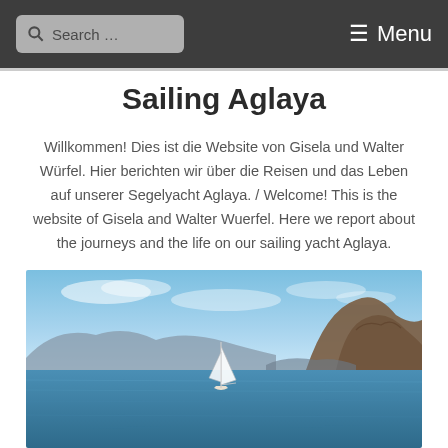Search ... ☰ Menu
Sailing Aglaya
Willkommen! Dies ist die Website von Gisela und Walter Würfel. Hier berichten wir über die Reisen und das Leben auf unserer Segelyacht Aglaya. / Welcome! This is the website of Gisela and Walter Wuerfel. Here we report about the journeys and the life on our sailing yacht Aglaya.
[Figure (photo): A sailing yacht on calm blue water surrounded by rocky hills and mountains under a blue sky with light clouds.]